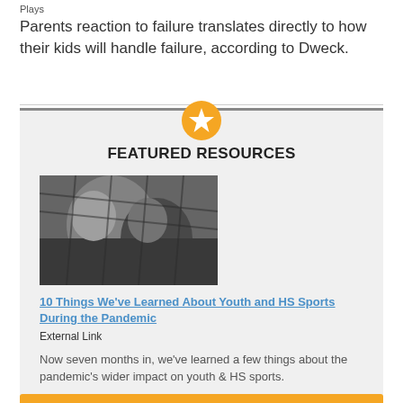Plays
Parents reaction to failure translates directly to how their kids will handle failure, according to Dweck.
FEATURED RESOURCES
[Figure (photo): Black and white photo of youth athletes, possibly baseball players behind a fence]
10 Things We've Learned About Youth and HS Sports During the Pandemic
External Link
Now seven months in, we've learned a few things about the pandemic's wider impact on youth & HS sports.